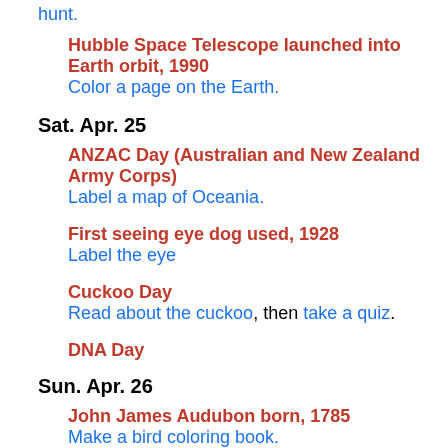hunt.
Hubble Space Telescope launched into Earth orbit, 1990
Color a page on the Earth.
Sat. Apr. 25
ANZAC Day (Australian and New Zealand Army Corps)
Label a map of Oceania.
First seeing eye dog used, 1928
Label the eye
Cuckoo Day
Read about the cuckoo, then take a quiz.
DNA Day
Sun. Apr. 26
John James Audubon born, 1785
Make a bird coloring book.